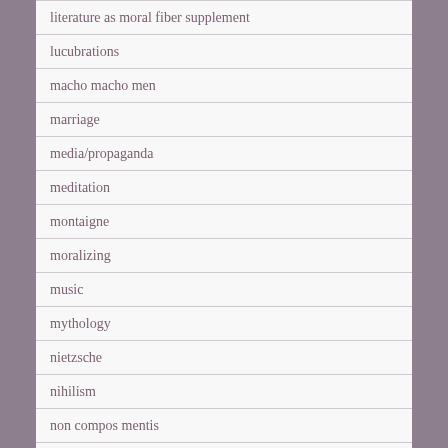literature as moral fiber supplement
lucubrations
macho macho men
marriage
media/propaganda
meditation
montaigne
moralizing
music
mythology
nietzsche
nihilism
non compos mentis
noteworthies